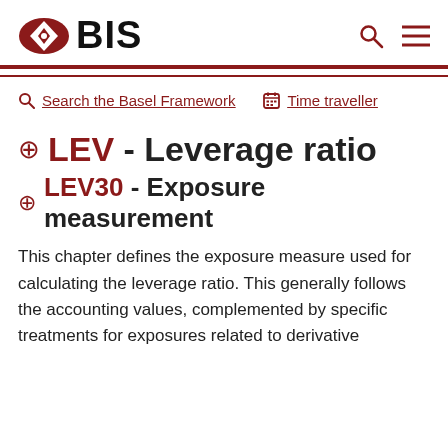BIS
Search the Basel Framework   Time traveller
LEV - Leverage ratio
LEV30 - Exposure measurement
This chapter defines the exposure measure used for calculating the leverage ratio. This generally follows the accounting values, complemented by specific treatments for exposures related to derivative